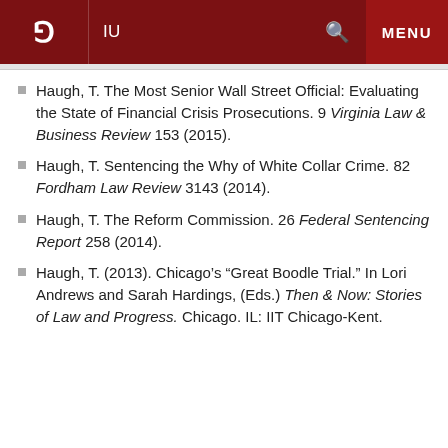IU
Haugh, T. The Most Senior Wall Street Official: Evaluating the State of Financial Crisis Prosecutions. 9 Virginia Law & Business Review 153 (2015).
Haugh, T. Sentencing the Why of White Collar Crime. 82 Fordham Law Review 3143 (2014).
Haugh, T. The Reform Commission. 26 Federal Sentencing Report 258 (2014).
Haugh, T. (2013). Chicago's "Great Boodle Trial." In Lori Andrews and Sarah Hardings, (Eds.) Then & Now: Stories of Law and Progress. Chicago. IL: IIT Chicago-Kent.